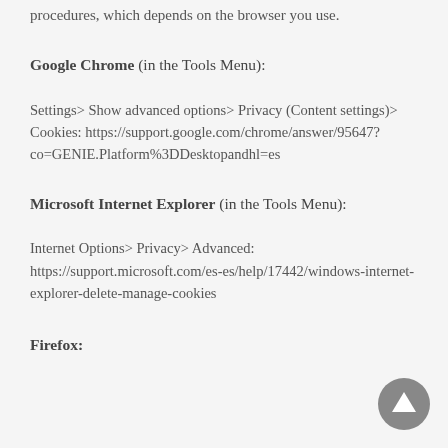procedures, which depends on the browser you use.
Google Chrome (in the Tools Menu):
Settings> Show advanced options> Privacy (Content settings)> Cookies: https://support.google.com/chrome/answer/95647?co=GENIE.Platform%3DDesktopandhl=es
Microsoft Internet Explorer (in the Tools Menu):
Internet Options> Privacy> Advanced: https://support.microsoft.com/es-es/help/17442/windows-internet-explorer-delete-manage-cookies
Firefox: